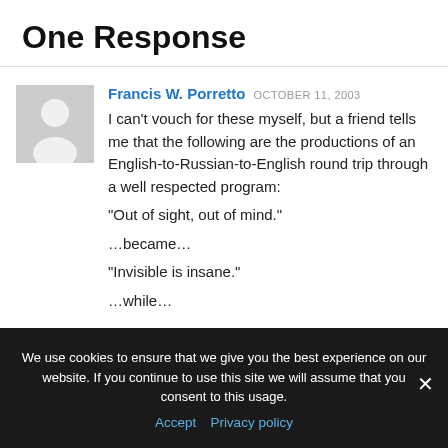One Response
Francis W. Porretto OCTOBER 11, 2003
I can't vouch for these myself, but a friend tells me that the following are the productions of an English-to-Russian-to-English round trip through a well respected program:
“Out of sight, out of mind.”
…became…
“Invisible is insane.”
…while…
We use cookies to ensure that we give you the best experience on our website. If you continue to use this site we will assume that you consent to this usage.
Accept  Privacy policy